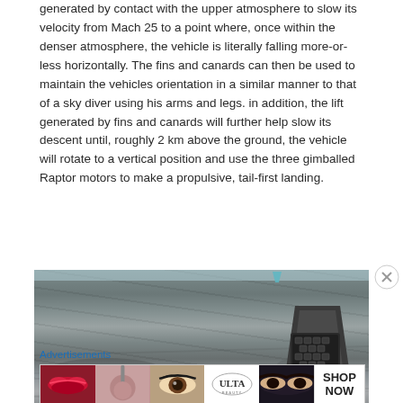generated by contact with the upper atmosphere to slow its velocity from Mach 25 to a point where, once within the denser atmosphere, the vehicle is literally falling more-or-less horizontally. The fins and canards can then be used to maintain the vehicles orientation in a similar manner to that of a sky diver using his arms and legs. in addition, the lift generated by fins and canards will further help slow its descent until, roughly 2 km above the ground, the vehicle will rotate to a vertical position and use the three gimballed Raptor motors to make a propulsive, tail-first landing.
[Figure (photo): Photograph of a spacecraft or rocket tail section resting on or near a gray rocky moon-like surface, viewed from a low angle showing the underside nozzle array against a barren landscape with a light blue sky at the top.]
Advertisements
[Figure (photo): Ulta Beauty advertisement banner showing close-up beauty images: lips with red lipstick, makeup brush, eye with makeup, Ulta logo, dramatic eye makeup, and SHOP NOW call to action.]